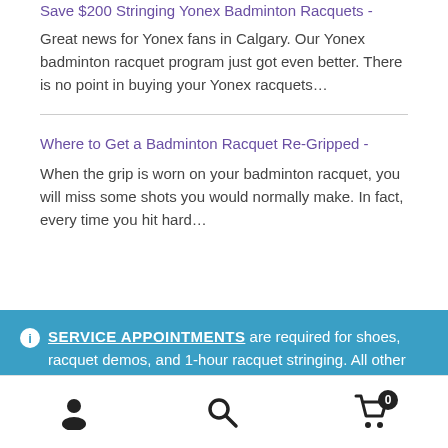Save $200 Stringing Yonex Badminton Racquets - Great news for Yonex fans in Calgary. Our Yonex badminton racquet program just got even better. There is no point in buying your Yonex racquets…
Where to Get a Badminton Racquet Re-Gripped - When the grip is worn on your badminton racquet, you will miss some shots you would normally make. In fact, every time you hit hard…
SERVICE APPOINTMENTS are required for shoes, racquet demos, and 1-hour racquet stringing. All other services are available on a walk-in basis. Dismiss